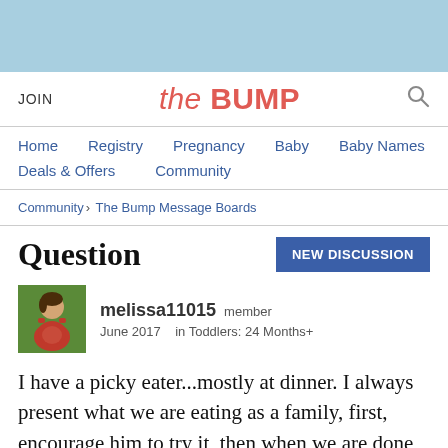[Figure (other): Light blue decorative banner at top of page]
JOIN  the BUMP  [search icon]
Home  Registry  Pregnancy  Baby  Baby Names  Deals & Offers  Community
Community › The Bump Message Boards
Question
[Figure (photo): Avatar image of a pregnant woman in red dress on green background]
melissa11015  member
June 2017   in Toddlers: 24 Months+
I have a picky eater...mostly at dinner. I always present what we are eating as a family, first, encourage him to try it, then when we are done eating we will make him something that we know he'll eat so